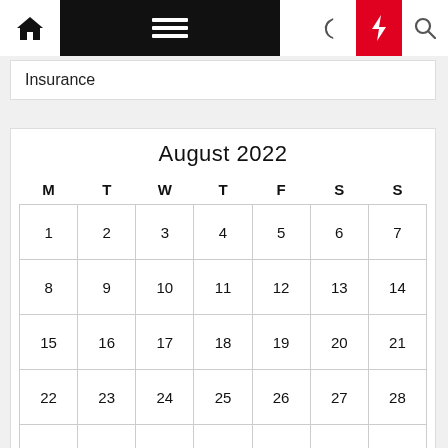Insurance
| M | T | W | T | F | S | S |
| --- | --- | --- | --- | --- | --- | --- |
| 1 | 2 | 3 | 4 | 5 | 6 | 7 |
| 8 | 9 | 10 | 11 | 12 | 13 | 14 |
| 15 | 16 | 17 | 18 | 19 | 20 | 21 |
| 22 | 23 | 24 | 25 | 26 | 27 | 28 |
| 29 | 30 | 31 |  |  |  |  |